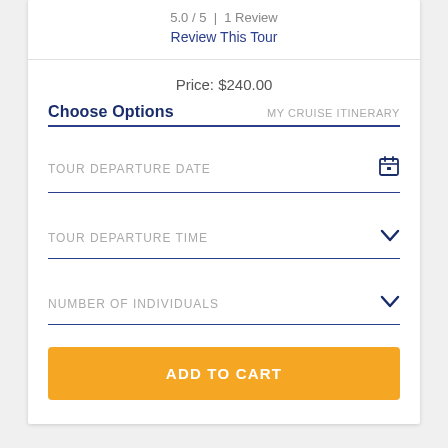5.0 / 5  |  1 Review
Review This Tour
Price: $240.00
Choose Options
MY CRUISE ITINERARY
TOUR DEPARTURE DATE
TOUR DEPARTURE TIME
NUMBER OF INDIVIDUALS
ADD TO CART